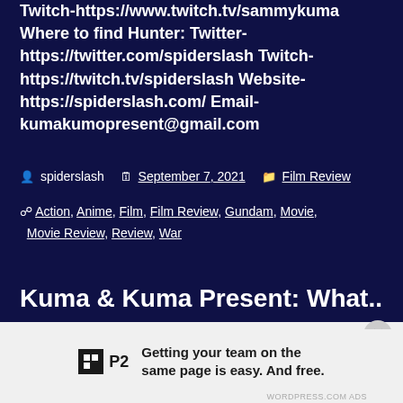Twitch-https://www.twitch.tv/sammykuma Where to find Hunter: Twitter-https://twitter.com/spiderslash Twitch-https://twitch.tv/spiderslash Website-https://spiderslash.com/ Email-kumakumopresent@gmail.com
spiderslash   September 7, 2021   Film Review
Action, Anime, Film, Film Review, Gundam, Movie, Movie Review, Review, War
Kuma & Kuma Present: What...
Getting your team on the same page is easy. And free.